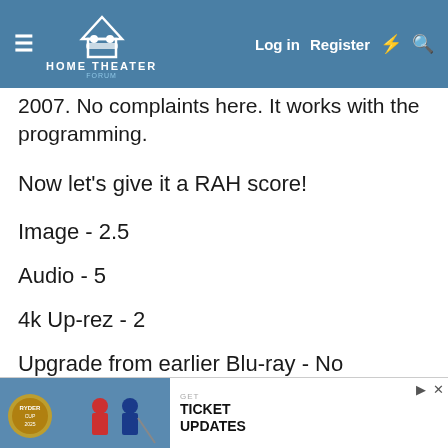Home Theater — navigation bar with Log in, Register, lightning, search icons
2007. No complaints here. It works with the programming.
Now let's give it a RAH score!
Image - 2.5
Audio - 5
4k Up-rez - 2
Upgrade from earlier Blu-ray - No
Pass / F...
[Figure (photo): Ryder Cup advertisement banner at bottom of page showing 'GET TICKET UPDATES' text and golf players in red and blue uniforms]